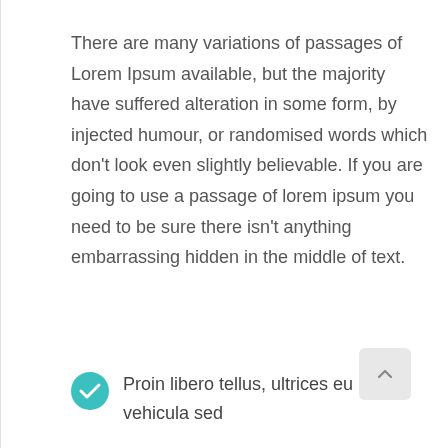There are many variations of passages of Lorem Ipsum available, but the majority have suffered alteration in some form, by injected humour, or randomised words which don't look even slightly believable. If you are going to use a passage of lorem ipsum you need to be sure there isn't anything embarrassing hidden in the middle of text.
Proin libero tellus, ultrices eu vehicula sed